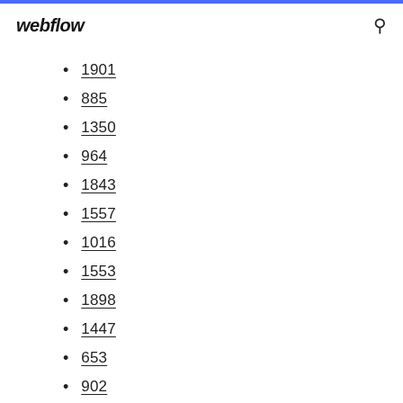webflow
1901
885
1350
964
1843
1557
1016
1553
1898
1447
653
902